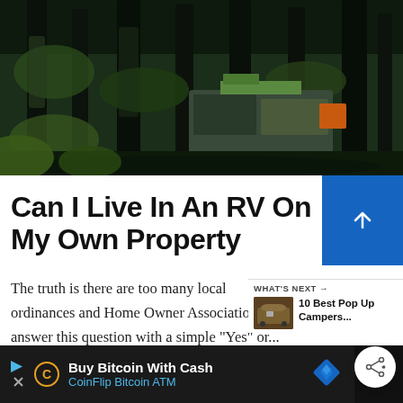[Figure (photo): Forest scene with tall dark pine trees and an RV/camper van partially visible through the trees, dark moody lighting with green foliage]
Can I Live In An RV On My Own Property
The truth is there are too many local ordinances and Home Owner Associatio answer this question with a simple "Yes" or...
[Figure (photo): WHAT'S NEXT thumbnail showing a pop-up camper, with text: 10 Best Pop Up Campers...]
Buy Bitcoin With Cash
CoinFlip Bitcoin ATM